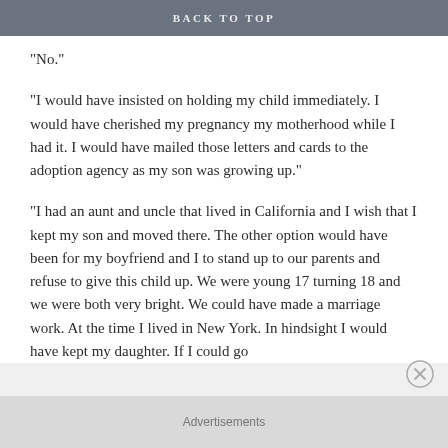BACK TO TOP
“No.”
“I would have insisted on holding my child immediately. I would have cherished my pregnancy my motherhood while I had it. I would have mailed those letters and cards to the adoption agency as my son was growing up.”
“I had an aunt and uncle that lived in California and I wish that I kept my son and moved there. The other option would have been for my boyfriend and I to stand up to our parents and refuse to give this child up. We were young 17 turning 18 and we were both very bright. We could have made a marriage work. At the time I lived in New York. In hindsight I would have kept my daughter. If I could go
Advertisements